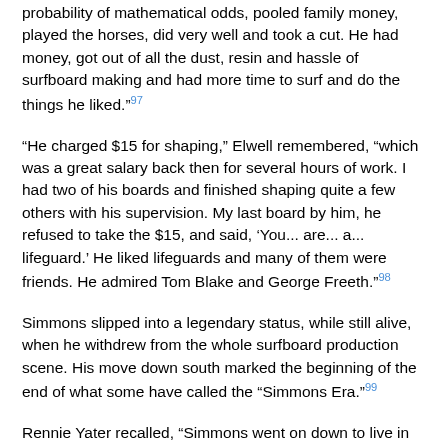probability of mathematical odds, pooled family money, played the horses, did very well and took a cut. He had money, got out of all the dust, resin and hassle of surfboard making and had more time to surf and do the things he liked.”²97
“He charged $15 for shaping,” Elwell remembered, “which was a great salary back then for several hours of work. I had two of his boards and finished shaping quite a few others with his supervision. My last board by him, he refused to take the $15, and said, ‘You... are... a... lifeguard.’ He liked lifeguards and many of them were friends. He admired Tom Blake and George Freeth.”²98
Simmons slipped into a legendary status, while still alive, when he withdrew from the whole surfboard production scene. His move down south marked the beginning of the end of what some have called the “Simmons Era.”²99
Rennie Yater recalled, “Simmons went on down to live in Imperial Beach. People kind of forgot about him after he left the Malibu testing grounds. Surfboard evolution went on, but